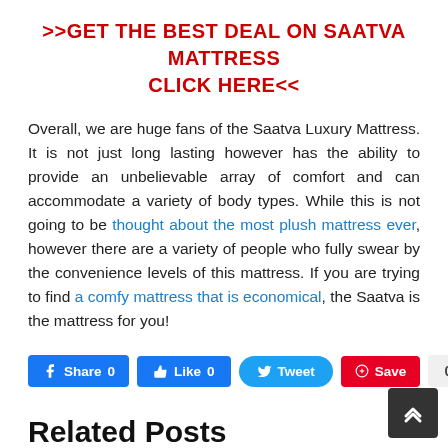>>GET THE BEST DEAL ON SAATVA MATTRESS CLICK HERE<<
Overall, we are huge fans of the Saatva Luxury Mattress. It is not just long lasting however has the ability to provide an unbelievable array of comfort and can accommodate a variety of body types. While this is not going to be thought about the most plush mattress ever, however there are a variety of people who fully swear by the convenience levels of this mattress. If you are trying to find a comfy mattress that is economical, the Saatva is the mattress for you!
[Figure (infographic): Social sharing buttons: Facebook Share 0, Like 0, Tweet, Pinterest Save, count 0]
Related Posts